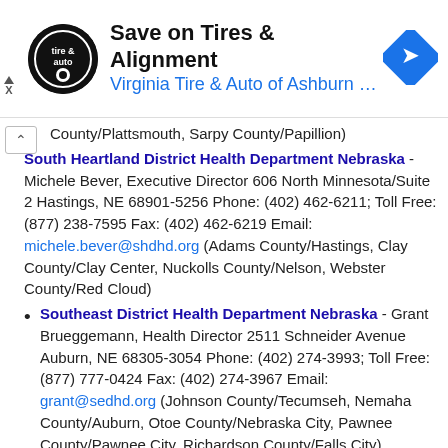[Figure (other): Advertisement banner: Save on Tires & Alignment - Virginia Tire & Auto of Ashburn ... with tire & auto logo and navigation arrow icon]
County/Plattsmouth, Sarpy County/Papillion)
South Heartland District Health Department Nebraska - Michele Bever, Executive Director 606 North Minnesota/Suite 2 Hastings, NE 68901-5256 Phone: (402) 462-6211; Toll Free: (877) 238-7595 Fax: (402) 462-6219 Email: michele.bever@shdhd.org (Adams County/Hastings, Clay County/Clay Center, Nuckolls County/Nelson, Webster County/Red Cloud)
Southeast District Health Department Nebraska - Grant Brueggemann, Health Director 2511 Schneider Avenue Auburn, NE 68305-3054 Phone: (402) 274-3993; Toll Free: (877) 777-0424 Fax: (402) 274-3967 Email: grant@sedhd.org (Johnson County/Tecumseh, Nemaha County/Auburn, Otoe County/Nebraska City, Pawnee County/Pawnee City, Richardson County/Falls City) 6
Southwest Nebraska Public Health Department Nebraska -